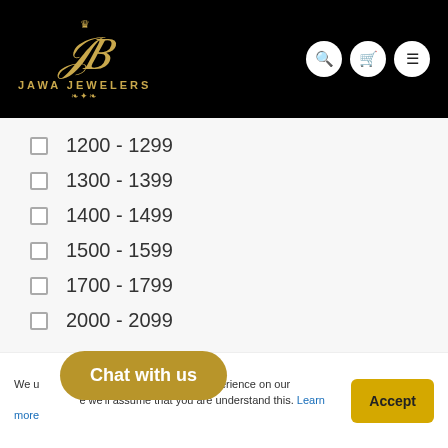[Figure (logo): Jawa Jewelers logo with crown, stylized JB monogram in gold, and decorative ornament on black background]
1200 - 1299
1300 - 1399
1400 - 1499
1500 - 1599
1700 - 1799
2000 - 2099
We use cookies to give you the best experience on our website. If you continue, we'll assume that you are understand this. Learn more